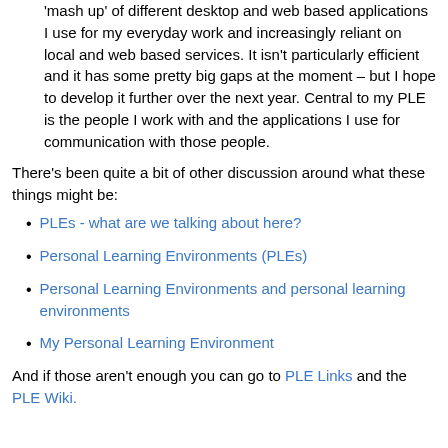'mash up' of different desktop and web based applications I use for my everyday work and increasingly reliant on local and web based services. It isn't particularly efficient and it has some pretty big gaps at the moment – but I hope to develop it further over the next year. Central to my PLE is the people I work with and the applications I use for communication with those people.
There's been quite a bit of other discussion around what these things might be:
PLEs - what are we talking about here?
Personal Learning Environments (PLEs)
Personal Learning Environments and personal learning environments
My Personal Learning Environment
And if those aren't enough you can go to PLE Links and the PLE Wiki.